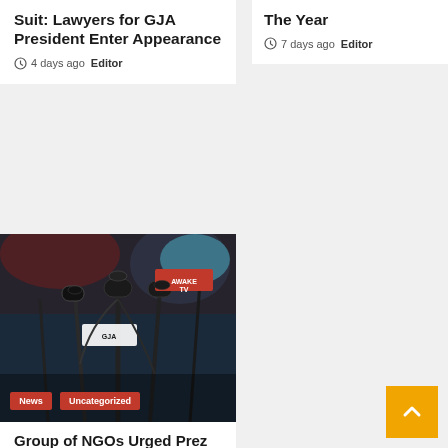Suit: Lawyers for GJA President Enter Appearance
4 days ago  Editor
The Year
7 days ago  Editor
[Figure (photo): Press conference photo showing multiple microphones from various TV stations including AWAKE TV, with a GJA microphone visible. News and Uncategorized badges overlaid at bottom.]
Group of NGOs Urged Prez Akufo-Addo to Declare Atewa Forest 'A Red Zone Area'